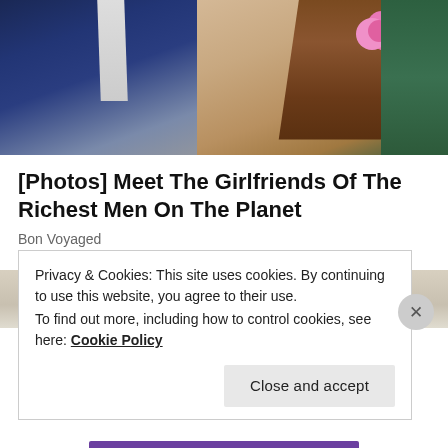[Figure (photo): Photo of a man in a dark navy suit with a light tie on the left, and a woman in a beige lace dress with a pink flower accessory on the right, sitting together]
[Photos] Meet The Girlfriends Of The Richest Men On The Planet
Bon Voyaged
[Figure (photo): Partial photo showing a desk lamp and stacked books/laptops on a surface]
Privacy & Cookies: This site uses cookies. By continuing to use this website, you agree to their use.
To find out more, including how to control cookies, see here: Cookie Policy
Close and accept